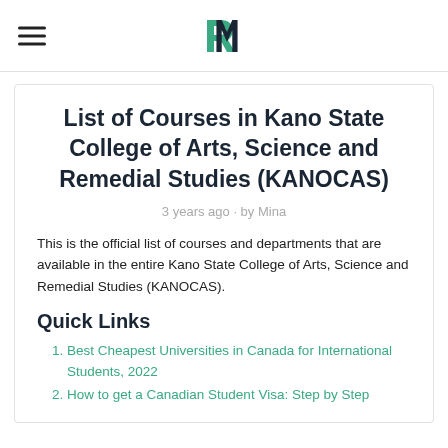RM (logo with hamburger menu)
List of Courses in Kano State College of Arts, Science and Remedial Studies (KANOCAS)
3 years ago · by Mina
This is the official list of courses and departments that are available in the entire Kano State College of Arts, Science and Remedial Studies (KANOCAS).
Quick Links
Best Cheapest Universities in Canada for International Students, 2022
How to get a Canadian Student Visa: Step by Step